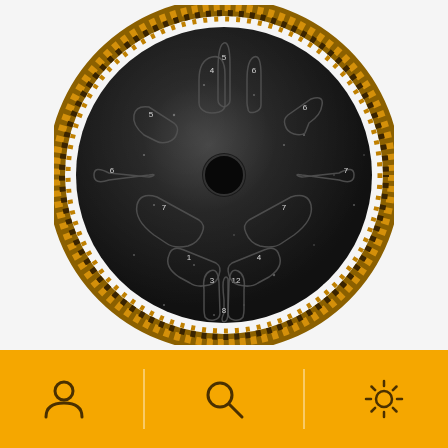[Figure (photo): Top-down view of a black steel tongue drum (handpan-style) with gold/yellow decorative fringe around the perimeter. The drum is dark metallic/speckled black with tongue-shaped tone holes numbered with small white numerals. A circular hole is in the center of the drum.]
[Figure (infographic): Orange/amber navigation bar at the bottom with three icons: a person/profile icon on the left, a search/magnifying glass icon in the center, and a gear/settings icon on the right. Dividers separate the three sections.]